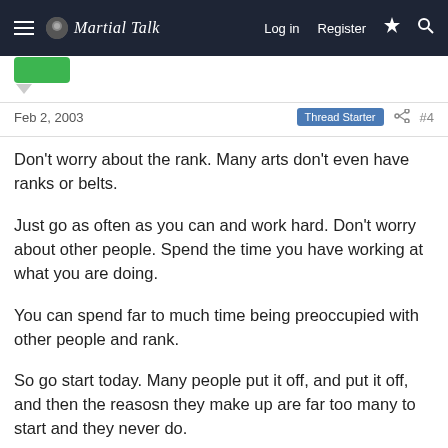≡ Martial Talk  Log in  Register  ⚡  🔍
Feb 2, 2003   Thread Starter   #4
Don't worry about the rank. Many arts don't even have ranks or belts.

Just go as often as you can and work hard. Don't worry about other people. Spend the time you have working at what you are doing.

You can spend far to much time being preoccupied with other people and rank.

So go start today. Many people put it off, and put it off, and then the reasosn they make up are far too many to start and they never do.

Above all, enjoy yourself. Best of luck.